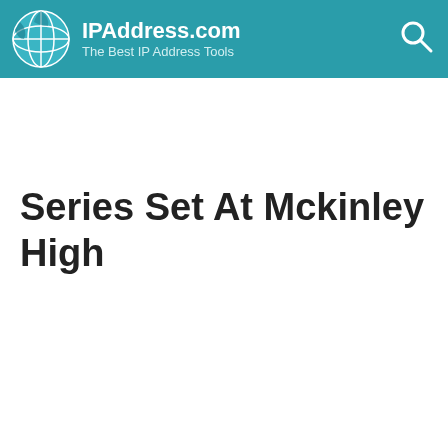IPAddress.com — The Best IP Address Tools
Series Set At Mckinley High